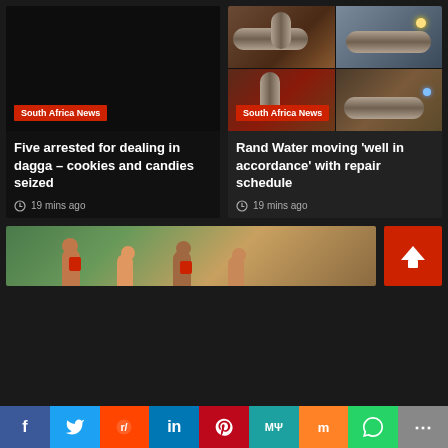[Figure (photo): Dark/black image placeholder for dagga cookies article]
South Africa News
Five arrested for dealing in dagga – cookies and candies seized
19 mins ago
[Figure (photo): Four-panel image grid showing underground pipe repair work — pipes, dirt, workers, welding sparks]
South Africa News
Rand Water moving 'well in accordance' with repair schedule
19 mins ago
[Figure (photo): Partial bottom-left card image showing people/crowd in green background]
[Figure (other): Red card with upward arrow/home icon (back-to-top button)]
f  Twitter  Reddit  in  Pinterest  MW  Mix  WhatsApp  Share